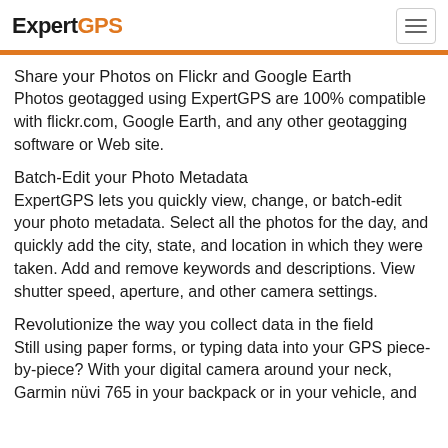ExpertGPS
Share your Photos on Flickr and Google Earth
Photos geotagged using ExpertGPS are 100% compatible with flickr.com, Google Earth, and any other geotagging software or Web site.
Batch-Edit your Photo Metadata
ExpertGPS lets you quickly view, change, or batch-edit your photo metadata. Select all the photos for the day, and quickly add the city, state, and location in which they were taken. Add and remove keywords and descriptions. View shutter speed, aperture, and other camera settings.
Revolutionize the way you collect data in the field
Still using paper forms, or typing data into your GPS piece-by-piece? With your digital camera around your neck, Garmin nüvi 765 in your backpack or in your vehicle, and